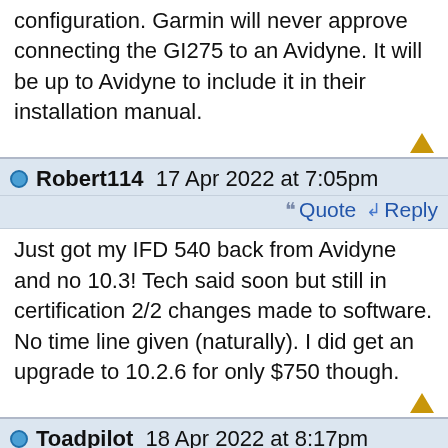configuration. Garmin will never approve connecting the GI275 to an Avidyne. It will be up to Avidyne to include it in their installation manual.
Robert114 17 Apr 2022 at 7:05pm
Quote  Reply
Just got my IFD 540 back from Avidyne and no 10.3! Tech said soon but still in certification 2/2 changes made to software. No time line given (naturally). I did get an upgrade to 10.2.6 for only $750 though.
Toadpilot 18 Apr 2022 at 8:17pm
Quote  Reply
Garmin just certified the GFC 500 autopilot for the PA-32. It requires installation of a GI275 to drive...